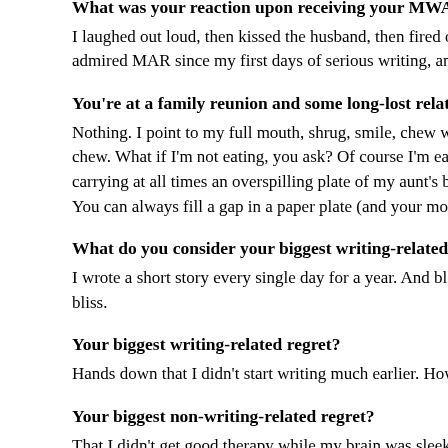What was your reaction upon receiving your MWA acceptance?
I laughed out loud, then kissed the husband, then fired off an e-mail to a couple of friends. I've admired MAR since my first days of serious writing, and I couldn't have asked f
You're at a family reunion and some long-lost relative asks about your wr
Nothing. I point to my full mouth, shrug, smile, chew with exaggerated labor, po chew. What if I'm not eating, you ask? Of course I'm eating. The only way to ge carrying at all times an overspilling plate of my aunt's baked beans and my cou You can always fill a gap in a paper plate (and your mouth) with potato chips.
What do you consider your biggest writing-related success?
I wrote a short story every single day for a year. And blogged about it. It was ve bliss.
Your biggest writing-related regret?
Hands down that I didn't start writing much earlier. How I wish I could have a do
Your biggest non-writing-related regret?
That I didn't get good therapy while my brain was sleek and flexible and more w needed good therapy then and would benefit from it now, but my brain is too sti streaming Netflix. Tired of all the chatter.
Tell us one strange thing about yourself that does not involve writing.
For many years when I was a kid, an adolescent, a teen, a young adult… not s every time I got into a car with someone else or into my own car, I wondered if